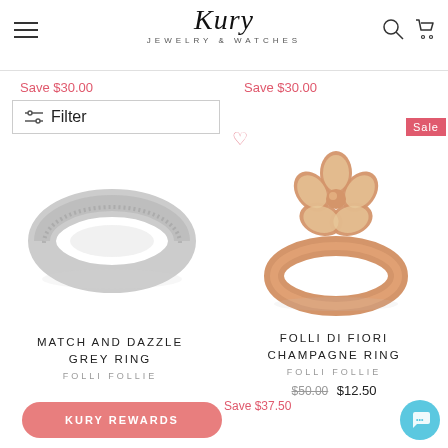[Figure (logo): Kury Jewelry & Watches logo with hamburger menu, search and cart icons]
Save $30.00
Save $30.00
Filter
[Figure (photo): Match and Dazzle Grey Ring - a thin silver ring with grey glitter texture]
[Figure (photo): Folli Di Fiori Champagne Ring - a rose gold ring with a flower-shaped top set with champagne crystals, Sale badge shown]
MATCH AND DAZZLE GREY RING
FOLLI FOLLIE
FOLLI DI FIORI CHAMPAGNE RING
FOLLI FOLLIE
$50.00  $12.50
Save $37.50
KURY REWARDS